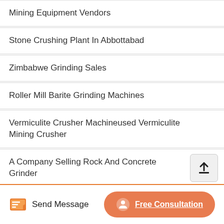Mining Equipment Vendors
Stone Crushing Plant In Abbottabad
Zimbabwe Grinding Sales
Roller Mill Barite Grinding Machines
Vermiculite Crusher Machineused Vermiculite Mining Crusher
A Company Selling Rock And Concrete Grinder
Tph Stone Crusher Manufacturer In India
Send Message   Free Consultation